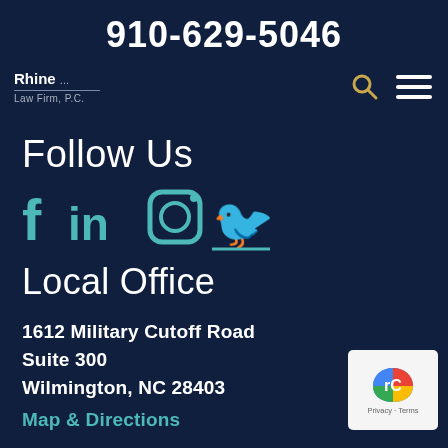910-629-5046
[Figure (logo): Rhine Law Firm, P.C. logo in white text on dark navy background]
Follow Us
[Figure (infographic): Social media icons: Facebook, LinkedIn, Instagram, Twitter in teal color]
Local Office
1612 Military Cutoff Road
Suite 300
Wilmington, NC 28403
Map & Directions